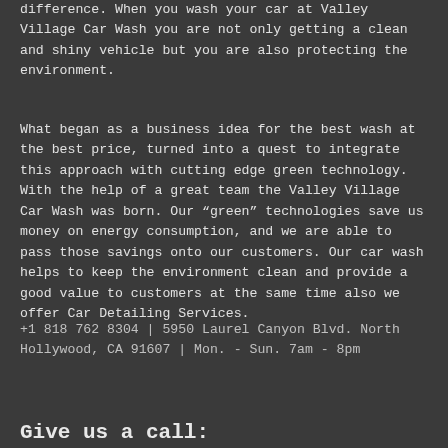difference. When you wash your car at Valley Village Car Wash you are not only getting a clean and shiny vehicle but you are also protecting the environment.
What began as a business idea for the best wash at the best price, turned into a quest to integrate this approach with cutting edge green technology. With the help of a great team the Valley Village Car Wash was born. Our “green” technologies save us money on energy consumption, and we are able to pass those savings onto our customers. Our car wash helps to keep the environment clean and provide a good value to customers at the same time also we offer Car Detailing Services.
+1 818 762 8304 | 5950 Laurel Canyon Blvd. North Hollywood, CA 91607 | Mon. - Sun. 7am - 8pm
Give us a call: